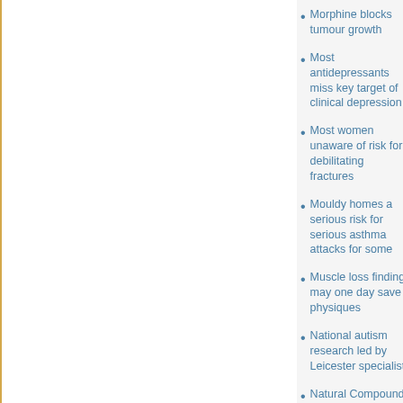Morphine blocks tumour growth
Most antidepressants miss key target of clinical depression
Most women unaware of risk for debilitating fractures
Mouldy homes a serious risk for serious asthma attacks for some
Muscle loss finding may one day save physiques
National autism research led by Leicester specialist
Natural Compound Stops Diabetic Retinopathy
Natural S-Equol suggested as critical component for reducing menopause